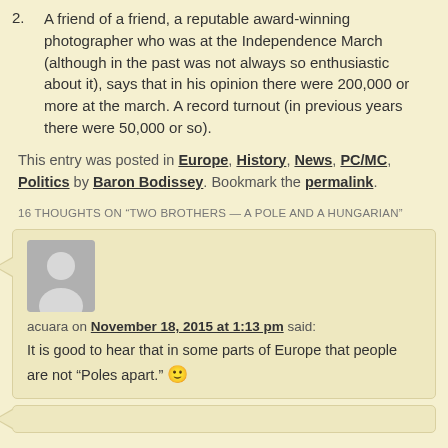2. A friend of a friend, a reputable award-winning photographer who was at the Independence March (although in the past was not always so enthusiastic about it), says that in his opinion there were 200,000 or more at the march. A record turnout (in previous years there were 50,000 or so).
This entry was posted in Europe, History, News, PC/MC, Politics by Baron Bodissey. Bookmark the permalink.
16 THOUGHTS ON “TWO BROTHERS — A POLE AND A HUNGARIAN”
acuara on November 18, 2015 at 1:13 pm said: It is good to hear that in some parts of Europe that people are not “Poles apart.” 🙂